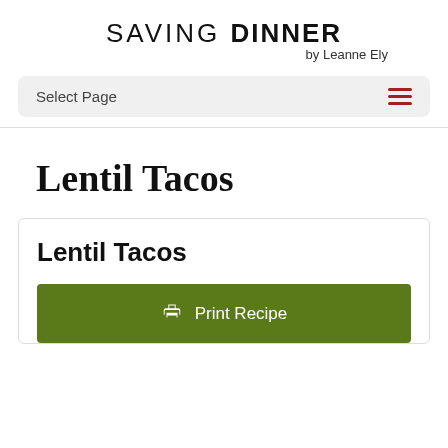SAVING DINNER by Leanne Ely
Select Page
Lentil Tacos
Lentil Tacos
Print Recipe